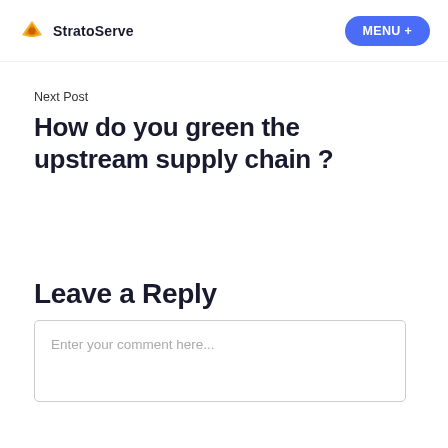StratoServe  MENU +
Next Post
How do you green the upstream supply chain ?
Leave a Reply
Enter your comment here...